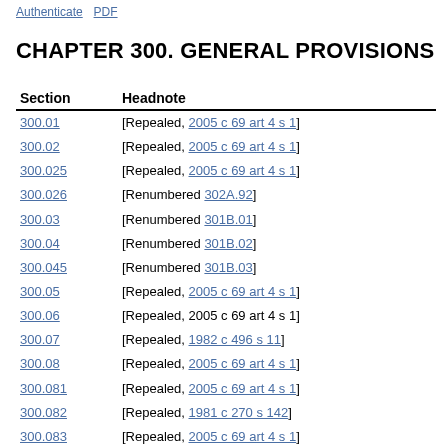Authenticate PDF
CHAPTER 300. GENERAL PROVISIONS
| Section | Headnote |
| --- | --- |
| 300.01 | [Repealed, 2005 c 69 art 4 s 1] |
| 300.02 | [Repealed, 2005 c 69 art 4 s 1] |
| 300.025 | [Repealed, 2005 c 69 art 4 s 1] |
| 300.026 | [Renumbered 302A.92] |
| 300.03 | [Renumbered 301B.01] |
| 300.04 | [Renumbered 301B.02] |
| 300.045 | [Renumbered 301B.03] |
| 300.05 | [Repealed, 2005 c 69 art 4 s 1] |
| 300.06 | [Repealed, 2005 c 69 art 4 s 1] |
| 300.07 | [Repealed, 1982 c 496 s 11] |
| 300.08 | [Repealed, 2005 c 69 art 4 s 1] |
| 300.081 | [Repealed, 2005 c 69 art 4 s 1] |
| 300.082 | [Repealed, 1981 c 270 s 142] |
| 300.083 | [Repealed, 2005 c 69 art 4 s 1] |
| 300.09 | [Repealed, 2005 c 69 art 4 s 1] |
| 300.10 | [Renumbered 301B.04] |